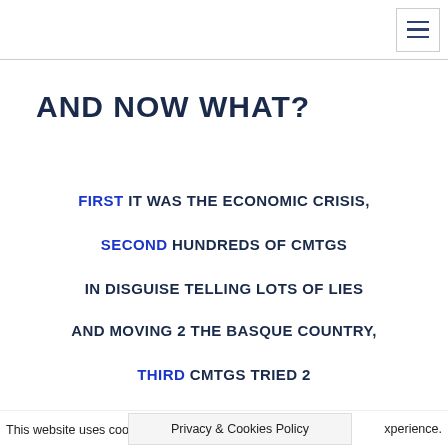≡
AND NOW WHAT?
FIRST IT WAS THE ECONOMIC CRISIS,
SECOND HUNDREDS OF CMTGS
IN DISGUISE TELLING LOTS OF LIES
AND MOVING 2 THE BASQUE COUNTRY,
THIRD CMTGS TRIED 2
This website uses cookies — Privacy & Cookies Policy — experience.